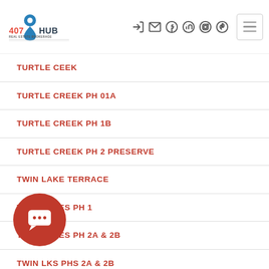407 HUB Real Estate Brokerage — navigation header with social icons and hamburger menu
TURTLE CEEK
TURTLE CREEK PH 01A
TURTLE CREEK PH 1B
TURTLE CREEK PH 2 PRESERVE
TWIN LAKE TERRACE
TWIN LAKES PH 1
TWIN LAKES PH 2A & 2B
TWIN LKS PHS 2A & 2B